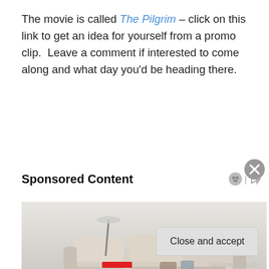The movie is called The Pilgrim – click on this link to get an idea for yourself from a promo clip.  Leave a comment if interested to come along and what day you'd be heading there.
Sponsored Content
[Figure (photo): Advertisement image showing a modern luxury sofa/bed setup with speakers, lighting, and various accessories on a light grey background.]
Privacy & Cookies: This site uses cookies. By continuing to use this website, you agree to their use.
To find out more, including how to control cookies, see here: Cookie Policy
Close and accept